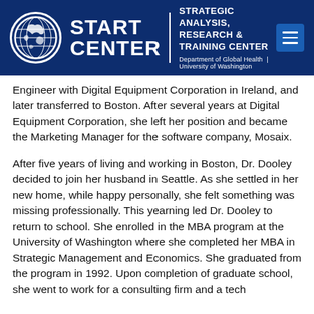START CENTER | STRATEGIC ANALYSIS, RESEARCH & TRAINING CENTER | Department of Global Health | University of Washington
Engineer with Digital Equipment Corporation in Ireland, and later transferred to Boston. After several years at Digital Equipment Corporation, she left her position and became the Marketing Manager for the software company, Mosaix.
After five years of living and working in Boston, Dr. Dooley decided to join her husband in Seattle. As she settled in her new home, while happy personally, she felt something was missing professionally. This yearning led Dr. Dooley to return to school. She enrolled in the MBA program at the University of Washington where she completed her MBA in Strategic Management and Economics. She graduated from the program in 1992. Upon completion of graduate school, she went to work for a consulting firm and a tech